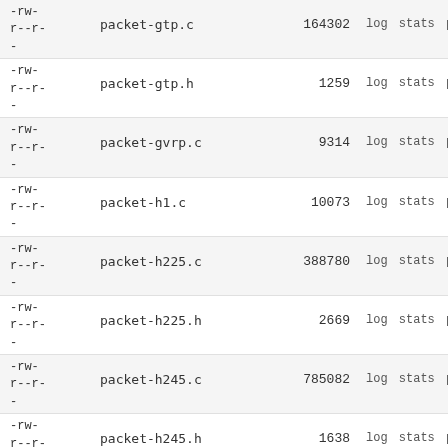| permissions | filename | size | actions |
| --- | --- | --- | --- |
| -rw-
r--r-
- | packet-gtp.c | 164302 | log stats pla |
| -rw-
r--r-
- | packet-gtp.h | 1259 | log stats pla |
| -rw-
r--r-
- | packet-gvrp.c | 9314 | log stats pla |
| -rw-
r--r-
- | packet-h1.c | 10073 | log stats pla |
| -rw-
r--r-
- | packet-h225.c | 388780 | log stats pla |
| -rw-
r--r-
- | packet-h225.h | 2669 | log stats pla |
| -rw-
r--r-
- | packet-h245.c | 785082 | log stats pla |
| -rw-
r--r-
- | packet-h245.h | 1638 | log stats pla |
| -rw-
r--r-
- | packet-h261.c | 5975 | log stats pla |
| -rw-
... | packet-h263... | 14xxx |  |